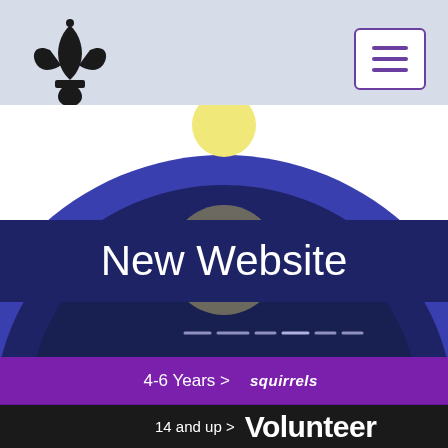[Figure (screenshot): Scouts website header with fleur-de-lis logo on left, hamburger menu button on right, light blue-grey background with decorative circle and 'New Website' banner]
4-6 Years > Squirrels
6-8 years > Beavers
8-10½ years > cubs
10½-14 years > Scouts
14-18 years > EXPLORERS
18-25 years > network
18+ years > Active Support
14 and up > Volunteer